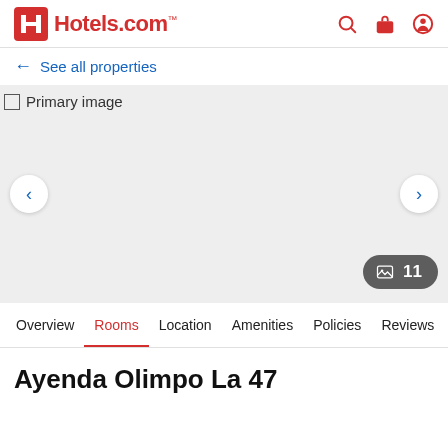[Figure (logo): Hotels.com logo with red H icon and red text]
← See all properties
[Figure (photo): Primary image placeholder for hotel - grey background with broken image text]
Overview | Rooms | Location | Amenities | Policies | Reviews
Ayenda Olimpo La 47